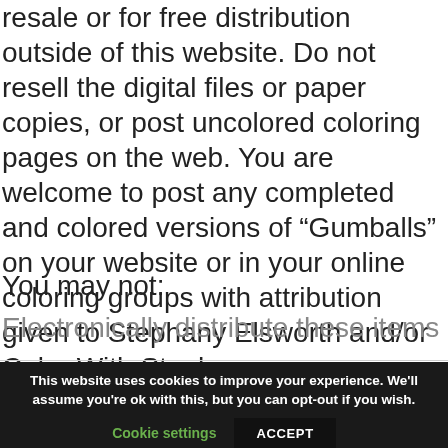resale or for free distribution outside of this website. Do not resell the digital files or paper copies, or post uncolored coloring pages on the web. You are welcome to post any completed and colored versions of “Gumballs” on your website or in your online coloring groups with attribution given to Stephany Elsworth and/or Color With Steph.
You may not:
Electronically distribute these items
This website uses cookies to improve your experience. We’ll assume you’re ok with this, but you can opt-out if you wish.
Cookie settings
ACCEPT